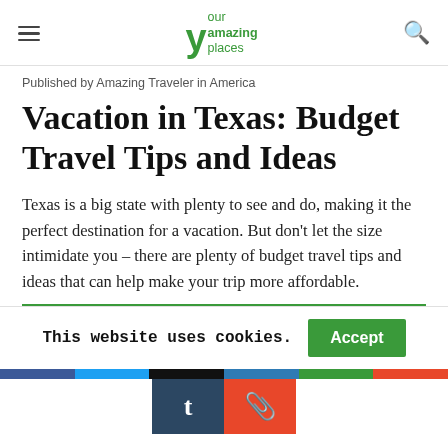Your Amazing Places
Published by Amazing Traveler in America
Vacation in Texas: Budget Travel Tips and Ideas
Texas is a big state with plenty to see and do, making it the perfect destination for a vacation. But don't let the size intimidate you – there are plenty of budget travel tips and ideas that can help make your trip more affordable.
This website uses cookies.